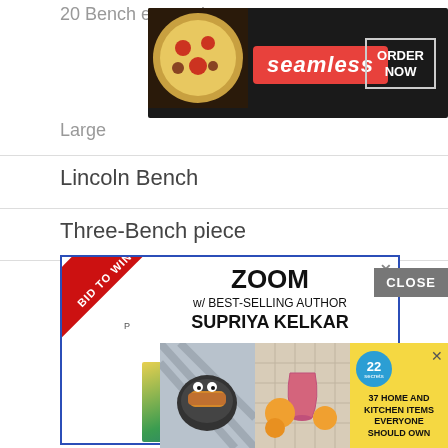20 Bench euro coins
[Figure (advertisement): Seamless food delivery ad with pizza image, seamless logo in red, and ORDER NOW button]
Large
Lincoln Bench
Three-Bench piece
[Figure (advertisement): Zoom with best-selling author Supriya Kelkar ad, showing book Brown Is Beautiful, with BID TO WIN banner]
[Figure (advertisement): 37 Home and Kitchen Items Everyone Should Own - yellow background ad with food images and circular badge showing 22]